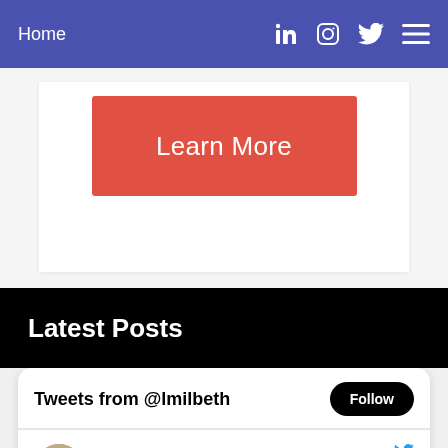Home
[Figure (screenshot): Learn More red button on white background]
Latest Posts
Tweets from @lmilbeth
Dr. Luz M. Cumba Ga... @l... · Sep 2
Replying to @lmilbeth
Already making new friends! @AAAS_STPF @Sfalconiglobal #50thClass #scipol #sciencepolicy
[Figure (photo): Two-panel photo of people at an event]